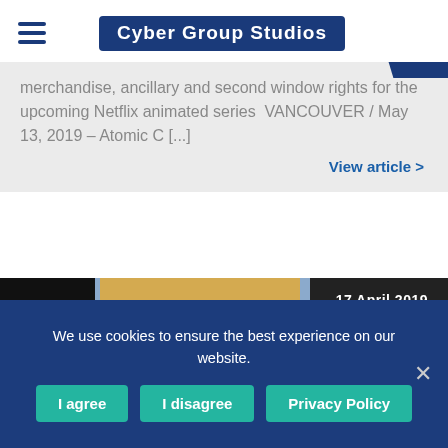Cyber Group Studios
merchandise, ancillary and second window rights for the upcoming Netflix animated series  VANCOUVER / May 13, 2019 – Atomic C [...]
View article >
[Figure (photo): Partially visible illustrated book cover for 'Jonny's Dildoers' or similar title, with a cartoon face and a black and white figure, on a colorful background. Date overlay: 17 April 2019]
17 April 2019
We use cookies to ensure the best experience on our website.
I agree | I disagree | Privacy Policy